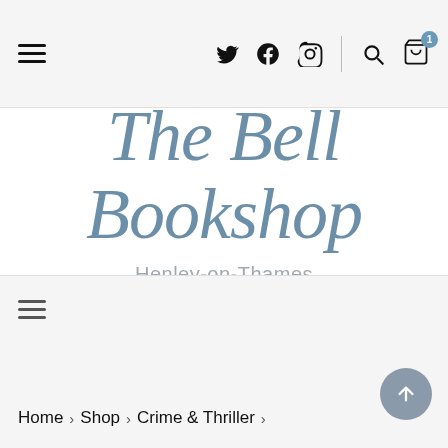Navigation bar with hamburger menu, Twitter, Facebook, Instagram icons, search and cart (1 item)
The Bell Bookshop
Henley-on-Thames
Home > Shop > Crime & Thriller >